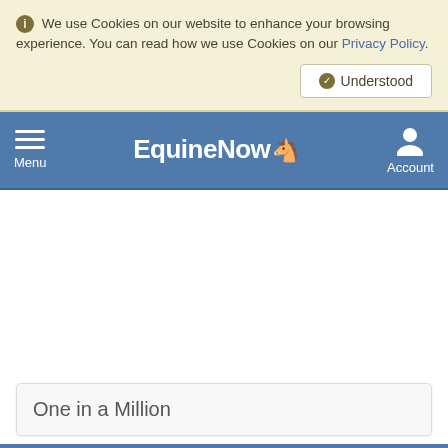We use Cookies on our website to enhance your browsing experience. You can read how we use Cookies on our Privacy Policy.
Understood
Menu  EquineNow  Account
One in a Million